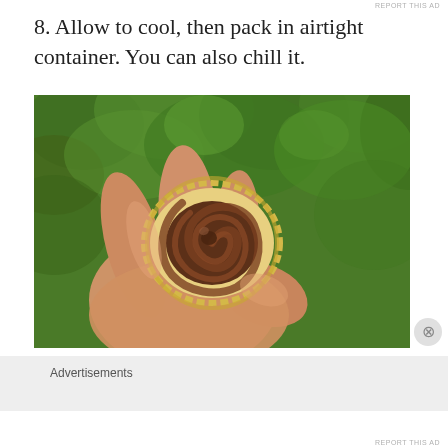8. Allow to cool, then pack in airtight container. You can also chill it.
[Figure (photo): A hand holding a small round cookie topped with a swirl of chocolate cream/ganache, with green foliage in the background.]
Advertisements